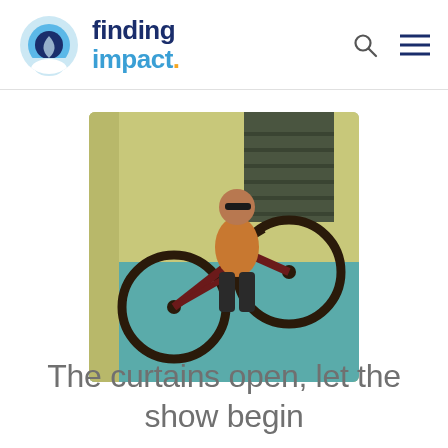finding impact.
[Figure (photo): A man riding a bicycle doing a wheelie or trick move, against a teal and yellow-green wall background. He is wearing sunglasses, an orange shirt, and dark pants.]
The curtains open, let the show begin